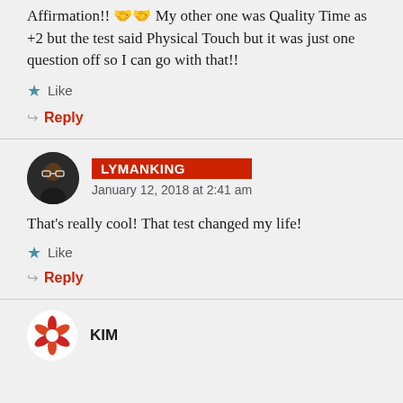Affirmation!! 🤝🤝 My other one was Quality Time as +2 but the test said Physical Touch but it was just one question off so I can go with that!!
Like
Reply
LYMANKING
January 12, 2018 at 2:41 am
That's really cool! That test changed my life!
Like
Reply
KIM